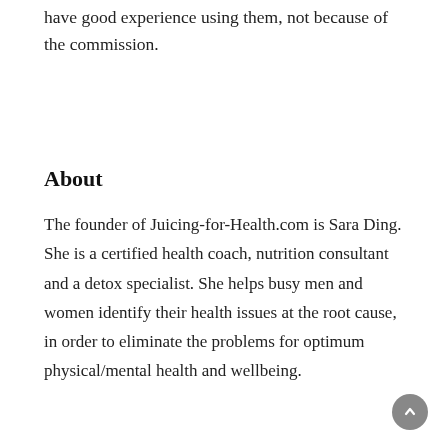have good experience using them, not because of the commission.
About
The founder of Juicing-for-Health.com is Sara Ding. She is a certified health coach, nutrition consultant and a detox specialist. She helps busy men and women identify their health issues at the root cause, in order to eliminate the problems for optimum physical/mental health and wellbeing.